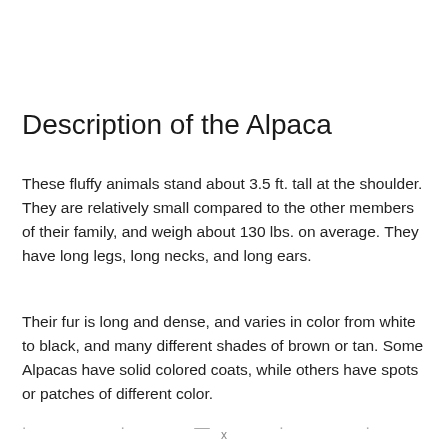Description of the Alpaca
These fluffy animals stand about 3.5 ft. tall at the shoulder. They are relatively small compared to the other members of their family, and weigh about 130 lbs. on average. They have long legs, long necks, and long ears.
Their fur is long and dense, and varies in color from white to black, and many different shades of brown or tan. Some Alpacas have solid colored coats, while others have spots or patches of different color.
. . . — . . . . .
x